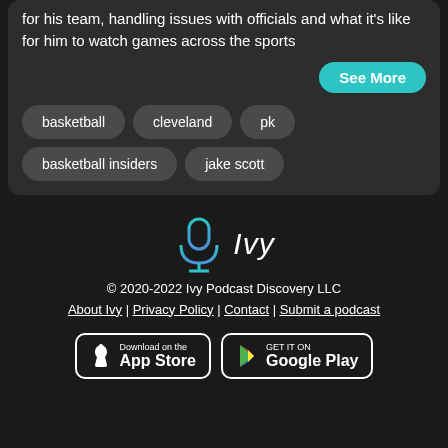for his team, handling issues with officials and what it's like for him to watch games across the sports
See More
basketball
cleveland
pk
basketball insiders
jake scott
[Figure (logo): Ivy podcast app logo - microphone icon in teal/blue gradient with 'Ivy' italic text]
© 2020-2022 Ivy Podcast Discovery LLC
About Ivy | Privacy Policy | Contact | Submit a podcast
[Figure (other): Download on the App Store button]
[Figure (other): GET IT ON Google Play button]